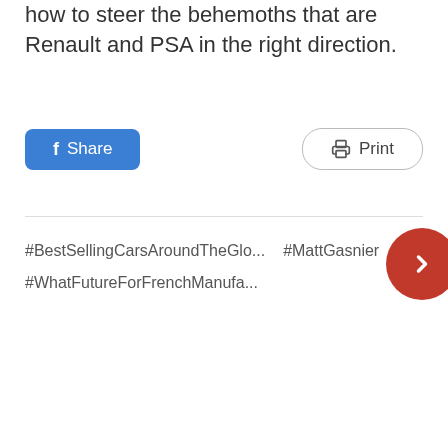how to steer the behemoths that are Renault and PSA in the right direction.
[Figure (screenshot): Facebook Share button (blue rounded rectangle with 'f Share') and Print button (outlined rounded rectangle with printer icon and 'Print')]
#BestSellingCarsAroundTheGlo...  #MattGasnier  #WhatFutureForFrenchManufa...